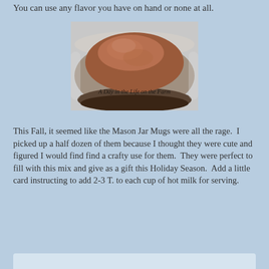You can use any flavor you have on hand or none at all.
[Figure (photo): A glass bowl or jar containing dark brown cocoa/chocolate powder mix, viewed from above at an angle. A watermark reads 'A Day in the Life on the Farm'.]
This Fall, it seemed like the Mason Jar Mugs were all the rage. I picked up a half dozen of them because I thought they were cute and figured I would find find a crafty use for them. They were perfect to fill with this mix and give as a gift this Holiday Season. Add a little card instructing to add 2-3 T. to each cup of hot milk for serving.